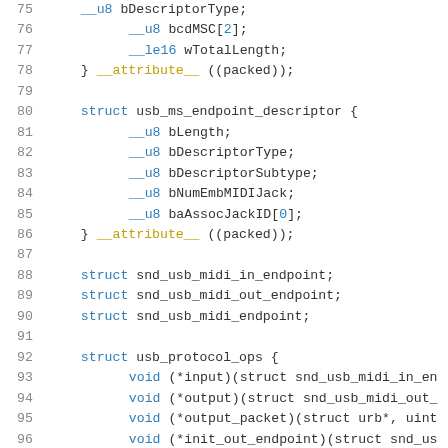75   __u8  bDescriptorType;
76         __u8  bcdMSC[2];
77         __le16 wTotalLength;
78   } __attribute__ ((packed));
79
80   struct usb_ms_endpoint_descriptor {
81         __u8  bLength;
82         __u8  bDescriptorType;
83         __u8  bDescriptorSubtype;
84         __u8  bNumEmbMIDIJack;
85         __u8  baAssocJackID[0];
86   } __attribute__ ((packed));
87
88   struct snd_usb_midi_in_endpoint;
89   struct snd_usb_midi_out_endpoint;
90   struct snd_usb_midi_endpoint;
91
92   struct usb_protocol_ops {
93         void (*input)(struct snd_usb_midi_in_en
94         void (*output)(struct snd_usb_midi_out_
95         void (*output_packet)(struct urb*, uint
96         void (*init_out_endpoint)(struct snd_us